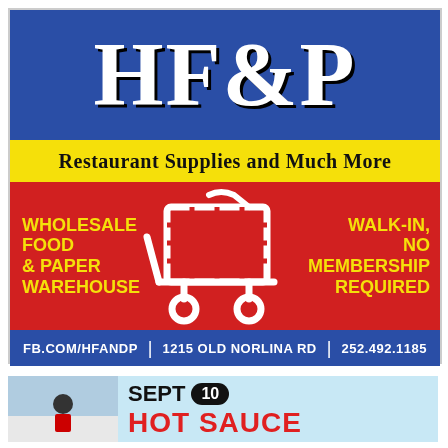[Figure (illustration): HF&P advertisement: blue header with 'HF&P' in large white serif font, yellow band with 'Restaurant Supplies and Much More', red section with shopping cart SVG, yellow text 'WHOLESALE FOOD & PAPER WAREHOUSE' on left and 'WALK-IN, NO MEMBERSHIP REQUIRED' on right, blue footer with 'FB.COM/HFANDP | 1215 OLD NORLINA RD | 252.492.1185']
[Figure (illustration): Partial advertisement: photo of person on left, text 'SEPT 10 HOT SAUCE' on yellow/blue background]